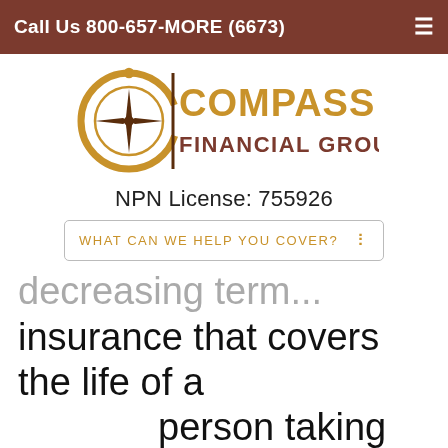Call Us 800-657-MORE (6673)
[Figure (logo): Compass Financial Group, Inc logo with compass rose icon and gold/brown text]
NPN License: 755926
WHAT CAN WE HELP YOU COVER?
decreasing term insurance that covers the life of a person taking out a mortgage. Death